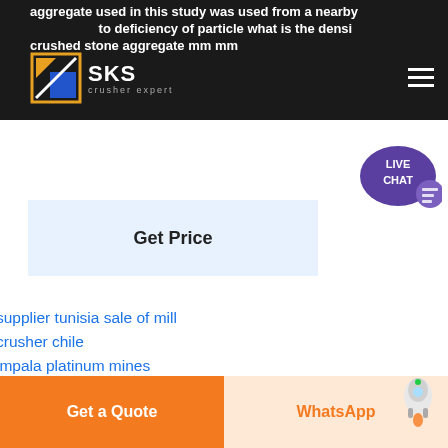aggregate used in this study was used from a nearby to deficiency of particle what is the density crushed stone aggregate mm mm
[Figure (logo): SKS crusher expert logo with geometric orange/blue icon]
[Figure (other): Live chat speech bubble icon in purple]
Get Price
supplier tunisia sale of mill
crusher chile
impala platinum mines
how is gold ore processed
flux ceramics
mesin crusher pemecah es
scrap metal compactor
60tph stone crusher plant machine
grinder sumersible sewage pump
Get a Quote   WhatsApp